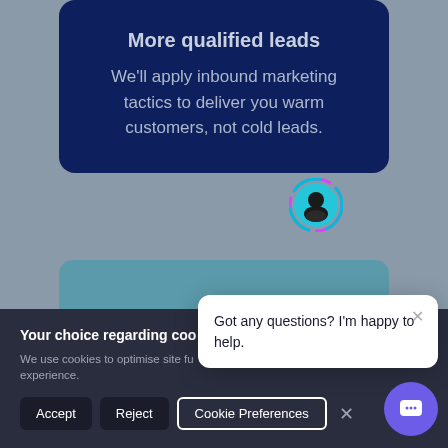[Figure (screenshot): A dark navy card with the heading 'More qualified leads' and descriptive text about inbound marketing tactics, overlaid on a grey background. Below it is a partially visible teal card. A cookie consent banner appears at the bottom with Accept, Reject, Cookie Preferences buttons and a close X. A chat popup with avatar shows 'Got any questions? I'm happy to help.' A purple chat button appears bottom right.]